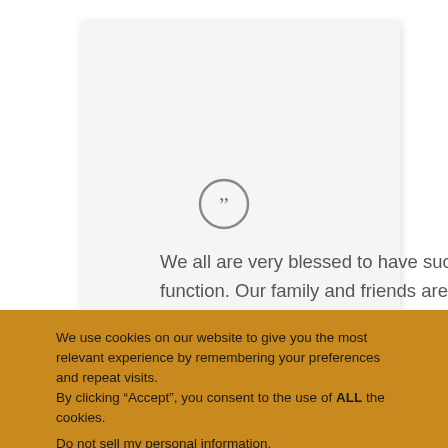[Figure (illustration): Circular quote icon with double closing quotation marks, gray outline circle]
We all are very blessed to have such a great function. Our family and friends are very very happy with the puja. Bhattar Dasarathi garu was extremely helpful and very patient with all
We use cookies on our website to give you the most relevant experience by remembering your preferences and repeat visits.
By clicking “Accept”, you consent to the use of ALL the cookies.
Do not sell my personal information.